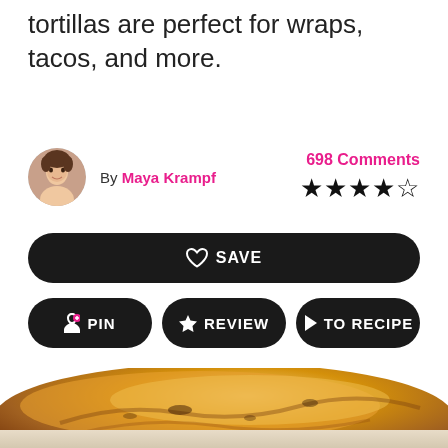tortillas are perfect for wraps, tacos, and more.
By Maya Krampf
698 Comments
[Figure (other): Star rating showing 4 out of 5 stars]
SAVE
PIN
REVIEW
TO RECIPE
[Figure (photo): Close-up blurred photo of golden-brown cooked tortillas stacked, with charred spots visible]